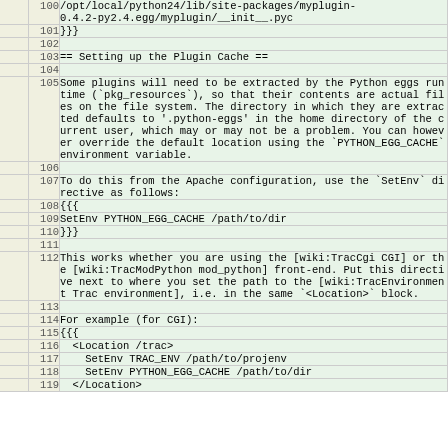|  | line | code |
| --- | --- | --- |
|  | 100 | /opt/local/python24/lib/site-packages/myplugin-0.4.2-py2.4.egg/myplugin/__init__.pyc |
|  | 101 | }}} |
|  | 102 |  |
|  | 103 | == Setting up the Plugin Cache == |
|  | 104 |  |
|  | 105 | Some plugins will need to be extracted by the Python eggs runtime (`pkg_resources`), so that their contents are actual files on the file system. The directory in which they are extracted defaults to '.python-eggs' in the home directory of the current user, which may or may not be a problem. You can however override the default location using the `PYTHON_EGG_CACHE` environment variable. |
|  | 106 |  |
|  | 107 | To do this from the Apache configuration, use the `SetEnv` directive as follows: |
|  | 108 | {{{ |
|  | 109 | SetEnv PYTHON_EGG_CACHE /path/to/dir |
|  | 110 | }}} |
|  | 111 |  |
|  | 112 | This works whether you are using the [wiki:TracCgi CGI] or the [wiki:TracModPython mod_python] front-end. Put this directive next to where you set the path to the [wiki:TracEnvironment Trac environment], i.e. in the same `<Location>` block. |
|  | 113 |  |
|  | 114 | For example (for CGI): |
|  | 115 | {{{ |
|  | 116 |   <Location /trac> |
|  | 117 |     SetEnv TRAC_ENV /path/to/projenv |
|  | 118 |     SetEnv PYTHON_EGG_CACHE /path/to/dir |
|  | 119 |   </Location> |